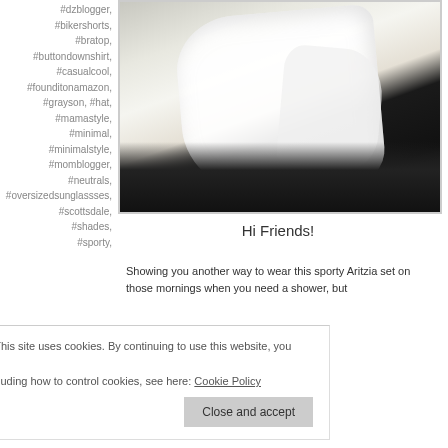#dzblogger, #bikershorts, #bratop, #buttondownshirt, #casualcool, #founditonamazon, #grayson, #hat, #mamastyle, #minimal, #minimalstyle, #momblogger, #neutrals, #oversizedsunglassses, #scottsdale, #shades, #sporty,
[Figure (photo): Close-up photo of a person wearing a white button-down shirt tied at the waist over dark biker shorts, lying/sitting on a neutral background]
Hi Friends!
Showing you another way to wear this sporty Aritzia set on those mornings when you need a shower, but
Privacy & Cookies: This site uses cookies. By continuing to use this website, you agree to their use.
To find out more, including how to control cookies, see here: Cookie Policy
Close and accept